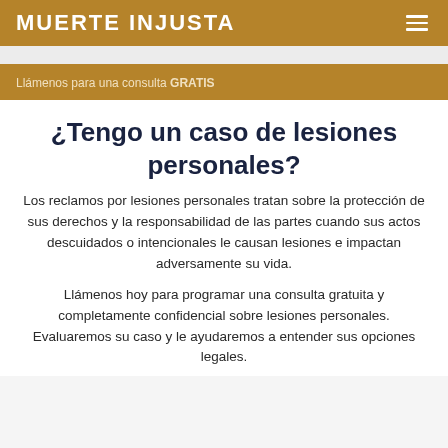MUERTE INJUSTA
Llámenos para una consulta GRATIS
¿Tengo un caso de lesiones personales?
Los reclamos por lesiones personales tratan sobre la protección de sus derechos y la responsabilidad de las partes cuando sus actos descuidados o intencionales le causan lesiones e impactan adversamente su vida.
Llámenos hoy para programar una consulta gratuita y completamente confidencial sobre lesiones personales. Evaluaremos su caso y le ayudaremos a entender sus opciones legales.